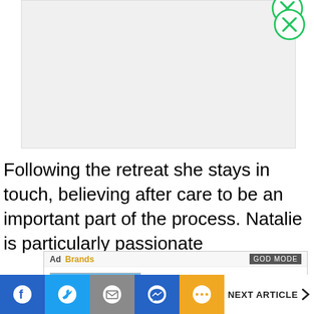[Figure (screenshot): Light grey placeholder rectangle for an advertisement image area, with a circular close button (green circle with X) in the top right corner]
Following the retreat she stays in touch, believing after care to be an important part of the process. Natalie is particularly passionate
[Figure (screenshot): Mobile ad banner for BitLife - Life Simulator app, showing a cartoon Buddha character with heart-shaped sunglasses on a blue background, the BitLife app icon, app name, and an Install! button]
[Figure (screenshot): Mobile browser bottom navigation bar with Facebook, Twitter, Mail, Messenger, More (...) buttons and a NEXT ARTICLE > button]